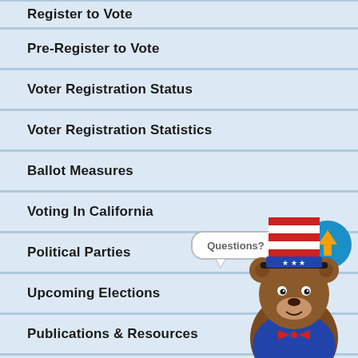Register to Vote
Pre-Register to Vote
Voter Registration Status
Voter Registration Statistics
Ballot Measures
Voting In California
Political Parties
Upcoming Elections
Publications & Resources
Voting Technology
Elections Site Map
[Figure (illustration): A cartoon bear mascot wearing a patriotic Uncle Sam top hat with red and white stripes, stars, and a blue band, dressed in a blue jacket with red bow tie. A speech bubble says 'Questions?' A circular blue button with an upward orange arrow appears above the bear.]